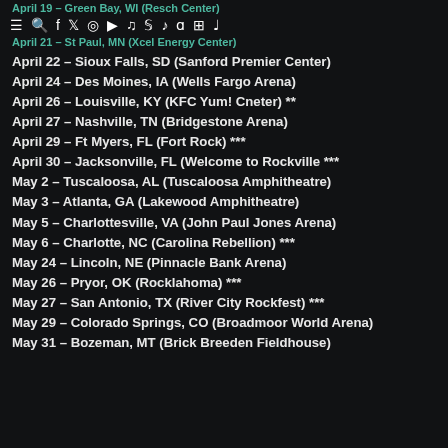April 19 – Green Bay, WI (Resch Center) | April 21 – St Paul, MN (Xcel Energy Center)
April 22 – Sioux Falls, SD (Sanford Premier Center)
April 24 – Des Moines, IA (Wells Fargo Arena)
April 26 – Louisville, KY (KFC Yum! Cneter) **
April 27 – Nashville, TN (Bridgestone Arena)
April 29 – Ft Myers, FL (Fort Rock) ***
April 30 – Jacksonville, FL (Welcome to Rockville ***
May 2 – Tuscaloosa, AL (Tuscaloosa Amphitheatre)
May 3 – Atlanta, GA (Lakewood Amphitheatre)
May 5 – Charlottesville, VA (John Paul Jones Arena)
May 6 – Charlotte, NC (Carolina Rebellion) ***
May 24 – Lincoln, NE (Pinnacle Bank Arena)
May 26 – Pryor, OK (Rocklahoma) ***
May 27 – San Antonio, TX (River City Rockfest) ***
May 29 – Colorado Springs, CO (Broadmoor World Arena)
May 31 – Bozeman, MT (Brick Breeden Fieldhouse)